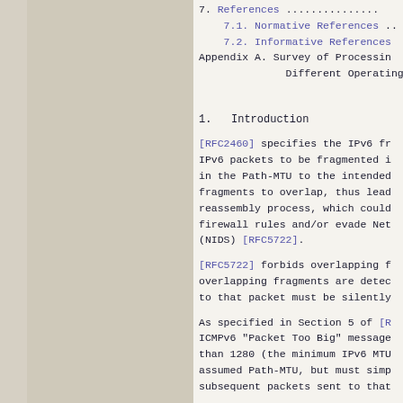7.  References ...............
7.1. Normative References ..
7.2. Informative References
Appendix A. Survey of Processing Different Operating
1.   Introduction
[RFC2460] specifies the IPv6 fr IPv6 packets to be fragmented i in the Path-MTU to the intended fragments to overlap, thus lead reassembly process, which could firewall rules and/or evade Net (NIDS) [RFC5722].
[RFC5722] forbids overlapping f overlapping fragments are detec to that packet must be silently
As specified in Section 5 of [R ICMPv6 "Packet Too Big" message than 1280 (the minimum IPv6 MTU assumed Path-MTU, but must simp subsequent packets sent to that